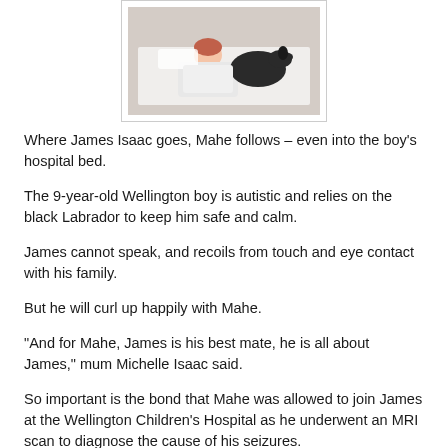[Figure (photo): A child in white clothing lying in a hospital bed with a black Labrador dog beside them]
Where James Isaac goes, Mahe follows – even into the boy's hospital bed.
The 9-year-old Wellington boy is autistic and relies on the black Labrador to keep him safe and calm.
James cannot speak, and recoils from touch and eye contact with his family.
But he will curl up happily with Mahe.
“And for Mahe, James is his best mate, he is all about James,” mum Michelle Isaac said.
So important is the bond that Mahe was allowed to join James at the Wellington Children's Hospital as he underwent an MRI scan to diagnose the cause of his seizures.